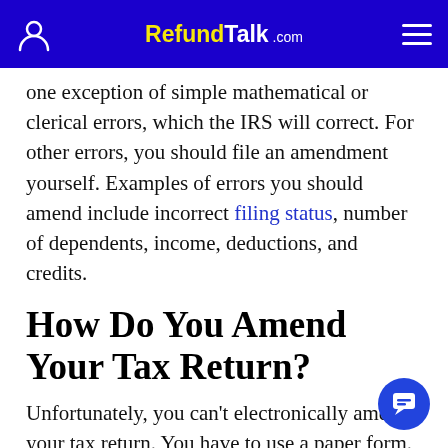RefundTalk.com
one exception of simple mathematical or clerical errors, which the IRS will correct. For other errors, you should file an amendment yourself. Examples of errors you should amend include incorrect filing status, number of dependents, income, deductions, and credits.
How Do You Amend Your Tax Return?
Unfortunately, you can't electronically amend your tax return. You have to use a paper form. The form to use is Form 1040X, the Amended U.S. Individual Income Tax Return.